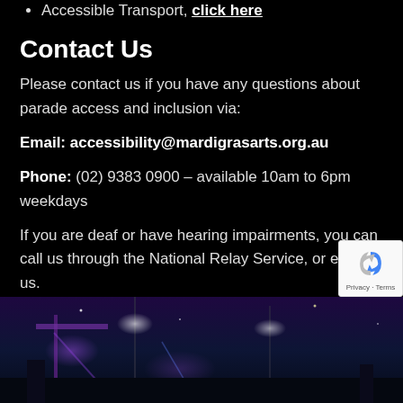Accessible Transport, click here
Contact Us
Please contact us if you have any questions about parade access and inclusion via:
Email: accessibility@mardigrasarts.org.au
Phone: (02) 9383 0900 – available 10am to 6pm weekdays
If you are deaf or have hearing impairments, you can call us through the National Relay Service, or email us.
[Figure (photo): Night-time outdoor event photo showing lights, poles and illuminated structures against a dark sky, with purple and coloured lights visible.]